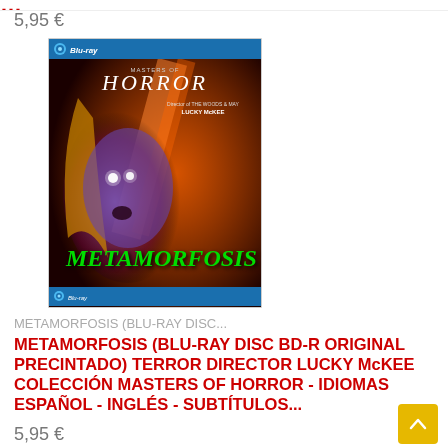5,95 €
[Figure (photo): Blu-ray disc case cover for METAMORFOSIS (Masters of Horror collection, directed by Lucky McKee). Shows a woman's face with glowing white eyes in purple/red tones, with the title METAMORFOSIS in green stylized text at the bottom. Blue Blu-ray header at top.]
METAMORFOSIS (BLU-RAY DISC...
METAMORFOSIS (BLU-RAY DISC BD-R ORIGINAL PRECINTADO) TERROR DIRECTOR LUCKY McKEE COLECCIÓN MASTERS OF HORROR - IDIOMAS ESPAÑOL - INGLÉS - SUBTÍTULOS...
5,95 €